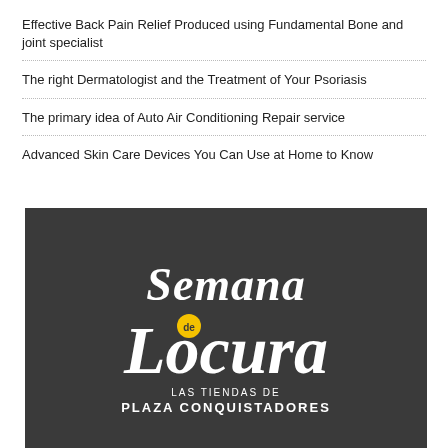Effective Back Pain Relief Produced using Fundamental Bone and joint specialist
The right Dermatologist and the Treatment of Your Psoriasis
The primary idea of Auto Air Conditioning Repair service
Advanced Skin Care Devices You Can Use at Home to Know
[Figure (logo): Semana de Locura logo — white script lettering on dark gray background with yellow circle accent, text below reads LAS TIENDAS DE PLAZA CONQUISTADORES]